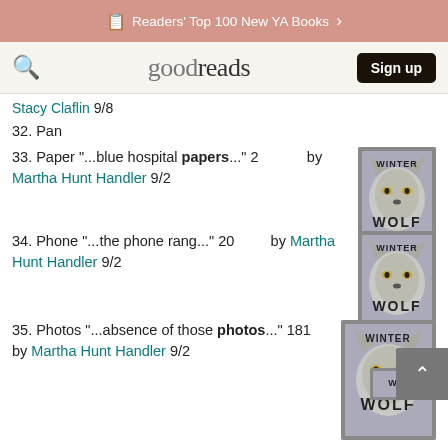Readers' Top 100 New YA Books
[Figure (logo): Goodreads logo with search icon and Sign up button]
Stacy Claflin 9/8
32. Pan
33. Paper "...blue hospital papers..." 2 by Martha Hunt Handler 9/2
[Figure (photo): Winter Wolf book cover - wolf face]
34. Phone "...the phone rang..." 20 by Martha Hunt Handler 9/2
[Figure (photo): Winter Wolf book cover - wolf face]
35. Photos "...absence of those photos..." 181 by Martha Hunt Handler 9/2
[Figure (photo): Winter Wolf book cover - wolf face (partial)]